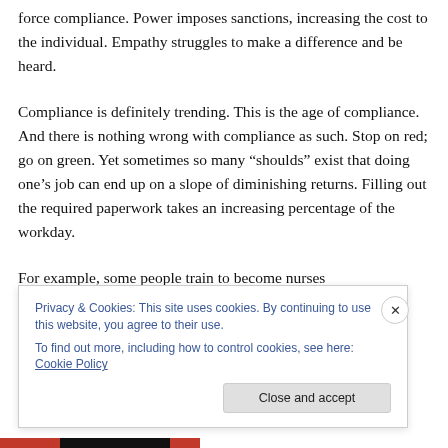force compliance. Power imposes sanctions, increasing the cost to the individual. Empathy struggles to make a difference and be heard.
Compliance is definitely trending. This is the age of compliance. And there is nothing wrong with compliance as such. Stop on red; go on green. Yet sometimes so many “shoulds” exist that doing one’s job can end up on a slope of diminishing returns. Filling out the required paperwork takes an increasing percentage of the workday.
For example, some people train to become nurses
Privacy & Cookies: This site uses cookies. By continuing to use this website, you agree to their use.
To find out more, including how to control cookies, see here: Cookie Policy